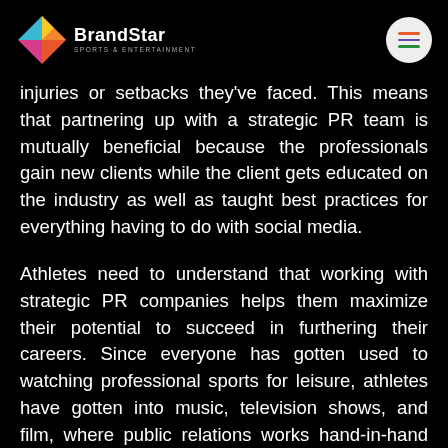BrandStar Sports & Entertainment
injuries or setbacks they've faced. This means that partnering up with a strategic PR team is mutually beneficial because the professionals gain new clients while the client gets educated on the industry as well as taught best practices for everything having to do with social media.
Athletes need to understand that working with strategic PR companies helps them maximize their potential to succeed in furthering their careers. Since everyone has gotten used to watching professional sports for leisure, athletes have gotten into music, television shows, and film, where public relations works hand-in-hand with this industry. This is how sport branding agencies are helping today's athletes become more than